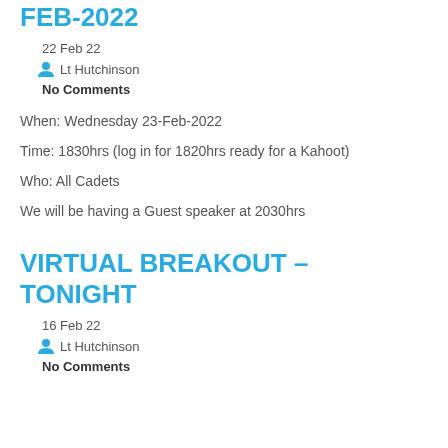FEB-2022
22 Feb 22
Lt Hutchinson
No Comments
When: Wednesday 23-Feb-2022
Time: 1830hrs (log in for 1820hrs ready for a Kahoot)
Who: All Cadets
We will be having a Guest speaker at 2030hrs
VIRTUAL BREAKOUT – TONIGHT
16 Feb 22
Lt Hutchinson
No Comments